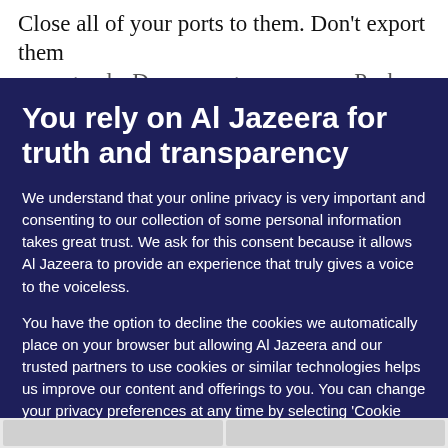Close all of your ports to them. Don't export them your goods. Deny energy resources. Push for Russia
You rely on Al Jazeera for truth and transparency
We understand that your online privacy is very important and consenting to our collection of some personal information takes great trust. We ask for this consent because it allows Al Jazeera to provide an experience that truly gives a voice to the voiceless.
You have the option to decline the cookies we automatically place on your browser but allowing Al Jazeera and our trusted partners to use cookies or similar technologies helps us improve our content and offerings to you. You can change your privacy preferences at any time by selecting 'Cookie preferences' at the bottom of your screen. To learn more, please view our Cookie Policy.